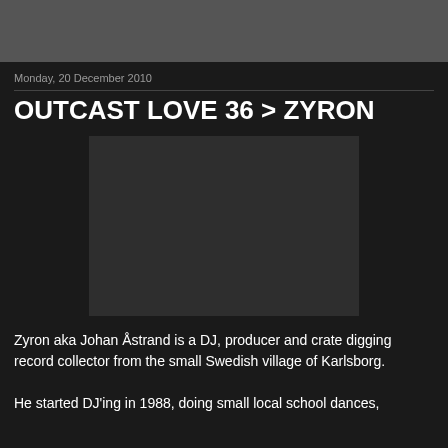Monday, 20 December 2010
OUTCAST LOVE 36 > ZYRON
[Figure (other): Embedded video player placeholder, dark rectangle]
Zyron aka Johan Åstrand is a DJ, producer and crate digging record collector from the small Swedish village of Karlsborg.
He started DJ'ing in 1988, doing small local school dances,